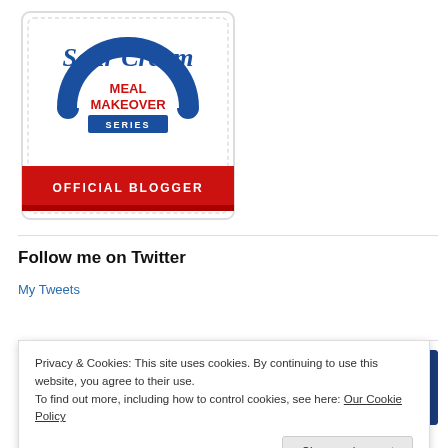[Figure (logo): Sour Cream Meal Makeover Series - Official Blogger badge with blue text and red banner]
Follow me on Twitter
My Tweets
[Figure (logo): Expert Mom badge (teal/cyan) on left and Member text in red on blue background on right]
Privacy & Cookies: This site uses cookies. By continuing to use this website, you agree to their use.
To find out more, including how to control cookies, see here: Our Cookie Policy